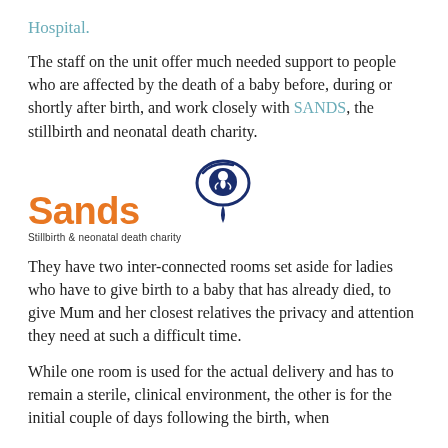Hospital.
The staff on the unit offer much needed support to people who are affected by the death of a baby before, during or shortly after birth, and work closely with SANDS, the stillbirth and neonatal death charity.
[Figure (logo): Sands logo — orange 'Sands' wordmark with a navy eye/teardrop icon containing a foetal figure, and tagline 'Stillbirth & neonatal death charity']
They have two inter-connected rooms set aside for ladies who have to give birth to a baby that has already died, to give Mum and her closest relatives the privacy and attention they need at such a difficult time.
While one room is used for the actual delivery and has to remain a sterile, clinical environment, the other is for the initial couple of days following the birth, when